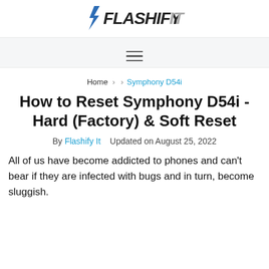Flashify It
[Figure (logo): Flashify It logo with lightning bolt icon and stylized text]
≡ (hamburger menu)
Home > > Symphony D54i
How to Reset Symphony D54i - Hard (Factory) & Soft Reset
By Flashify It   Updated on August 25, 2022
All of us have become addicted to phones and can't bear if they are infected with bugs and in turn, become sluggish.